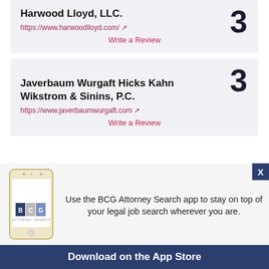Harwood Lloyd, LLC.
https://www.harwoodlloyd.com/
Write a Review
Javerbaum Wurgaft Hicks Kahn Wikstrom & Sinins, P.C.
https://www.javerbaumwurgaft.com
Write a Review
[Figure (infographic): BCG Attorney Search mobile app advertisement banner with phone image and text: Use the BCG Attorney Search app to stay on top of your legal job search wherever you are. Download on the App Store.]